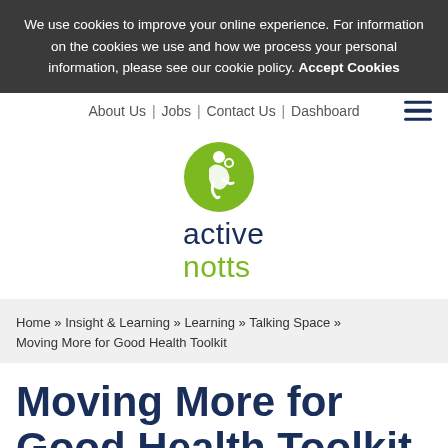We use cookies to improve your online experience. For information on the cookies we use and how we process your personal information, please see our cookie policy. Accept Cookies
About Us | Jobs | Contact Us | Dashboard
[Figure (logo): Active Notts logo with green circular icon and text 'active notts']
Home » Insight & Learning » Learning » Talking Space » Moving More for Good Health Toolkit
Moving More for Good Health Toolkit
As part of the Talking Space around Moving More for